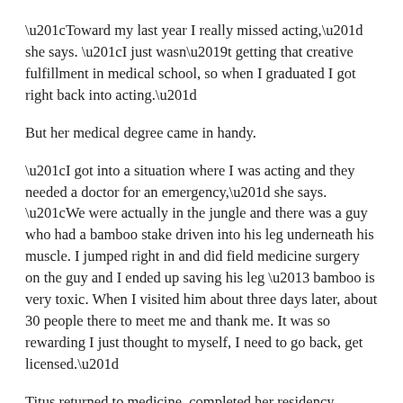“Toward my last year I really missed acting,” she says. “I just wasn’t getting that creative fulfillment in medical school, so when I graduated I got right back into acting.”
But her medical degree came in handy.
“I got into a situation where I was acting and they needed a doctor for an emergency,” she says. “We were actually in the jungle and there was a guy who had a bamboo stake driven into his leg underneath his muscle. I jumped right in and did field medicine surgery on the guy and I ended up saving his leg – bamboo is very toxic. When I visited him about three days later, about 30 people there to meet me and thank me. It was so rewarding I just thought to myself, I need to go back, get licensed.”
Titus returned to medicine, completed her residency, passed the board exam, got licensed and returned to acting.